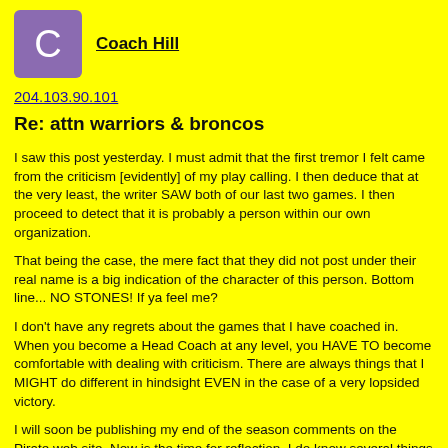[Figure (illustration): Purple square avatar with white letter C]
Coach Hill
204.103.90.101
Re: attn warriors & broncos
I saw this post yesterday. I must admit that the first tremor I felt came from the criticism [evidently] of my play calling. I then deduce that at the very least, the writer SAW both of our last two games. I then proceed to detect that it is probably a person within our own organization.
That being the case, the mere fact that they did not post under their real name is a big indication of the character of this person. Bottom line... NO STONES! If ya feel me?
I don't have any regrets about the games that I have coached in. When you become a Head Coach at any level, you HAVE TO become comfortable with dealing with criticism. There are always things that I MIGHT do different in hindsight EVEN in the case of a very lopsided victory.
I will soon be publishing my end of the season comments on the Pirate web site. Now is the time for reflection. I do know several things though.
1) If I return again for another Pirate campaign, there will be several individuals that I will not welcome back.
2) If the person that began this post IS a Pirate? He will be one of the individuals NOT invited back. Obviously, he is a perfect football player